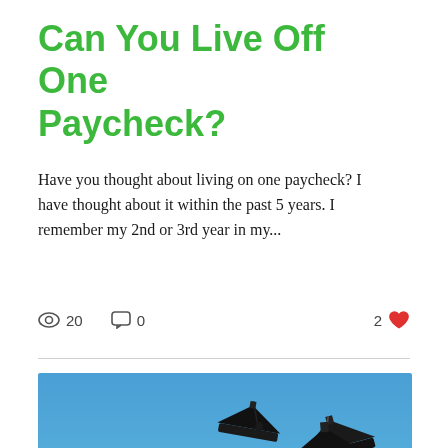Can You Live Off One Paycheck?
Have you thought about living on one paycheck? I have thought about it within the past 5 years. I remember my 2nd or 3rd year in my...
20 views  0 comments  2 likes
[Figure (photo): Graduation caps being tossed in the air against a clear blue sky, with yellow tassels visible.]